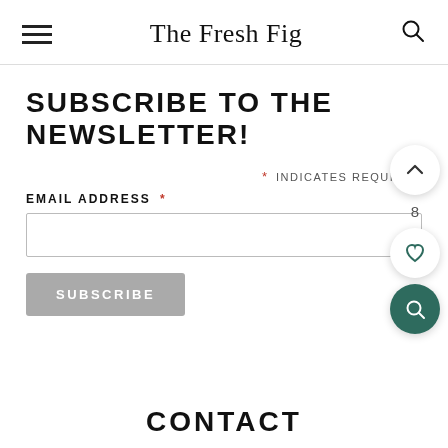The Fresh Fig
SUBSCRIBE TO THE NEWSLETTER!
* INDICATES REQUIRED
EMAIL ADDRESS *
SUBSCRIBE
CONTACT